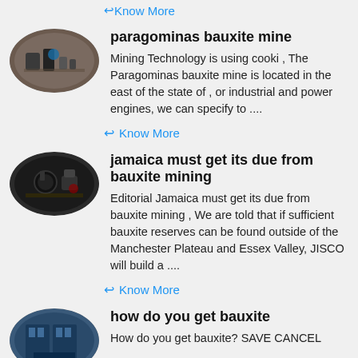Know More
paragominas bauxite mine
Mining Technology is using cooki , The Paragominas bauxite mine is located in the east of the state of , or industrial and power engines, we can specify to ....
Know More
jamaica must get its due from bauxite mining
Editorial Jamaica must get its due from bauxite mining , We are told that if sufficient bauxite reserves can be found outside of the Manchester Plateau and Essex Valley, JISCO will build a ....
Know More
how do you get bauxite
How do you get bauxite? SAVE CANCEL